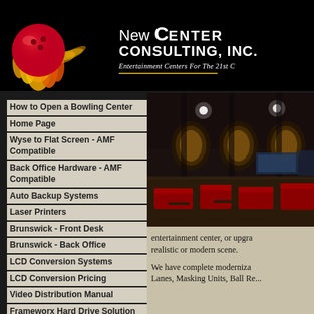[Figure (logo): New Center Consulting Inc. logo with flaming bowling ball graphic and text. Tagline: Entertainment Centers For The 21st C]
How to Open a Bowling Center
Home Page
Wyse to Flat Screen - AMF Compatible
Back Office Hardware - AMF Compatible
Auto Backup Systems
Laser Printers
Brunswick - Front Desk
Brunswick - Back Office
LCD Conversion Systems
LCD Conversion Pricing
Video Distribution Manual
Frameworx Hard Drive Solution
Ask Our Customers
Mini-Bowling vs Traditional
Consulting Services for New Centers
[Figure (photo): Interior photo of a modern bowling center showing lanes with red seating and decorative lighting]
entertainment center, or upgra... realistic or modern scene.
We have complete moderniza... Lanes, Masking Units, Ball Re...